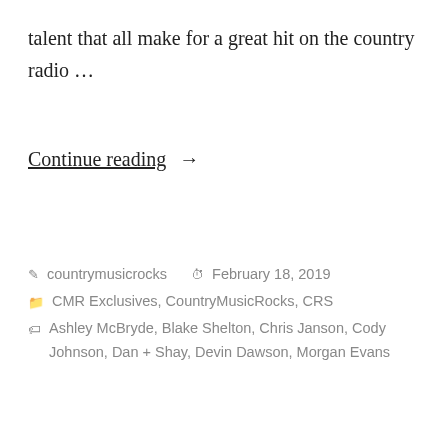talent that all make for a great hit on the country radio …
Continue reading →
countrymusicrocks   February 18, 2019   CMR Exclusives, CountryMusicRocks, CRS   Ashley McBryde, Blake Shelton, Chris Janson, Cody Johnson, Dan + Shay, Devin Dawson, Morgan Evans